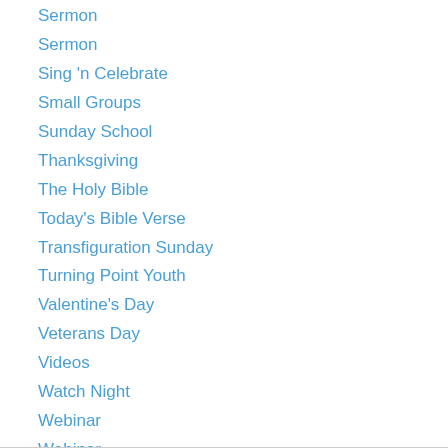Sermon
Sermon
Sing 'n Celebrate
Small Groups
Sunday School
Thanksgiving
The Holy Bible
Today's Bible Verse
Transfiguration Sunday
Turning Point Youth
Valentine's Day
Veterans Day
Videos
Watch Night
Webinar
Webinar
Webmaster posts
World Communion Sunday